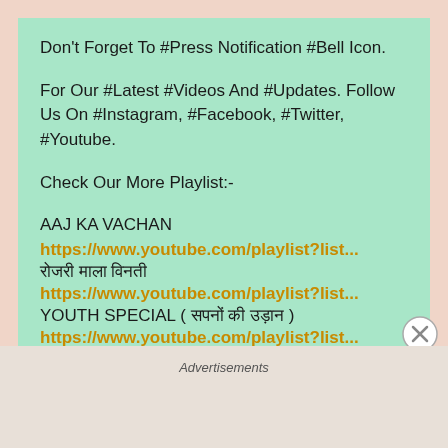Don't Forget To #Press Notification #Bell Icon.
For Our #Latest #Videos And #Updates. Follow Us On #Instagram, #Facebook, #Twitter, #Youtube.
Check Our More Playlist:-
AAJ KA VACHAN
https://www.youtube.com/playlist?list...
रोजरी माला विनती
https://www.youtube.com/playlist?list...
YOUTH SPECIAL ( सपनों की उड़ान )
https://www.youtube.com/playlist?list...
करूणा विनती
Advertisements